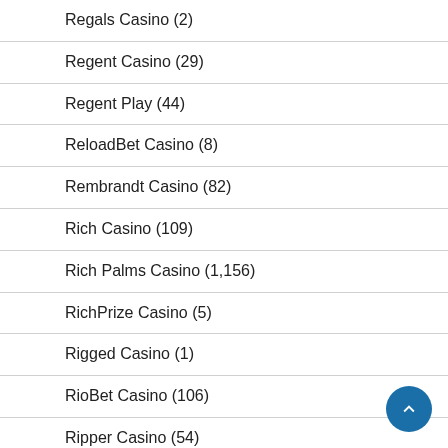Regals Casino (2)
Regent Casino (29)
Regent Play (44)
ReloadBet Casino (8)
Rembrandt Casino (82)
Rich Casino (109)
Rich Palms Casino (1,156)
RichPrize Casino (5)
Rigged Casino (1)
RioBet Casino (106)
Ripper Casino (54)
Riverbelle Casino (1)
Rizk Casino (1)
Roadhouse Reels (1)